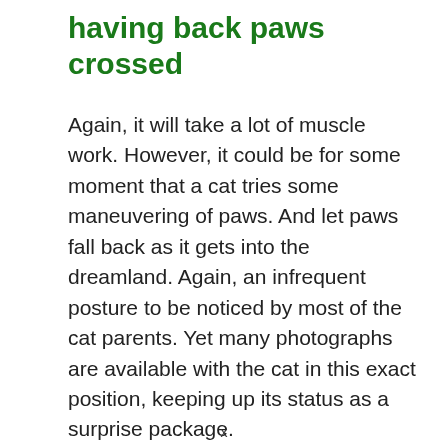having back paws crossed
Again, it will take a lot of muscle work. However, it could be for some moment that a cat tries some maneuvering of paws. And let paws fall back as it gets into the dreamland. Again, an infrequent posture to be noticed by most of the cat parents. Yet many photographs are available with the cat in this exact position, keeping up its status as a surprise package.
x